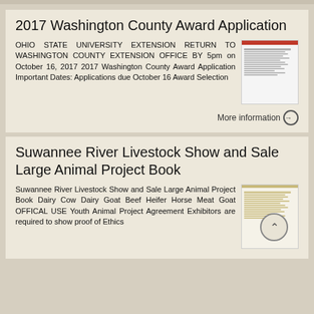2017 Washington County Award Application
OHIO STATE UNIVERSITY EXTENSION RETURN TO WASHINGTON COUNTY EXTENSION OFFICE BY 5pm on October 16, 2017 2017 Washington County Award Application Important Dates: Applications due October 16 Award Selection
[Figure (other): Thumbnail image of the 2017 Washington County Award Application form with a red header bar]
More information →
Suwannee River Livestock Show and Sale Large Animal Project Book
Suwannee River Livestock Show and Sale Large Animal Project Book Dairy Cow Dairy Goat Beef Heifer Horse Meat Goat OFFICAL USE Youth Animal Project Agreement Exhibitors are required to show proof of Ethics
[Figure (other): Thumbnail image of the Suwannee River Livestock Show and Sale Large Animal Project Book form with yellow/tan striped header]